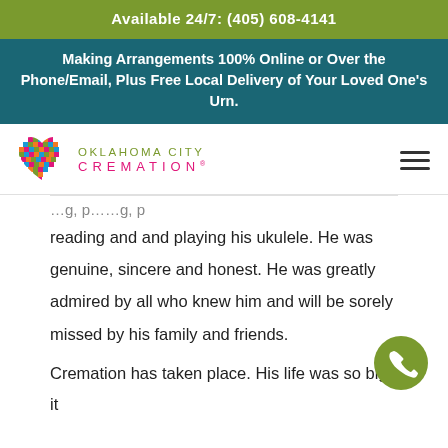Available 24/7: (405) 608-4141
Making Arrangements 100% Online or Over the Phone/Email, Plus Free Local Delivery of Your Loved One's Urn.
[Figure (logo): Oklahoma City Cremation logo with colorful mosaic heart icon and green/pink text]
reading and and playing his ukulele. He was genuine, sincere and honest. He was greatly admired by all who knew him and will be sorely missed by his family and friends.
[Figure (other): Green circular phone/call button FAB icon]
Cremation has taken place. His life was so big it